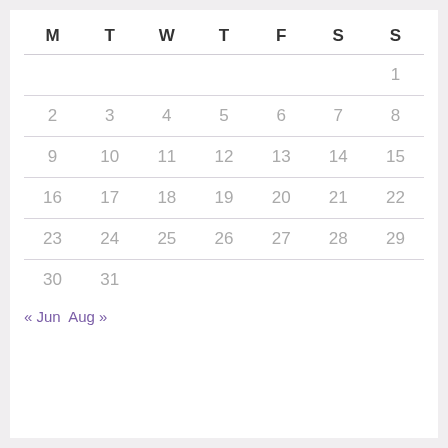| M | T | W | T | F | S | S |
| --- | --- | --- | --- | --- | --- | --- |
|  |  |  |  |  |  | 1 |
| 2 | 3 | 4 | 5 | 6 | 7 | 8 |
| 9 | 10 | 11 | 12 | 13 | 14 | 15 |
| 16 | 17 | 18 | 19 | 20 | 21 | 22 |
| 23 | 24 | 25 | 26 | 27 | 28 | 29 |
| 30 | 31 |  |  |  |  |  |
« Jun  Aug »